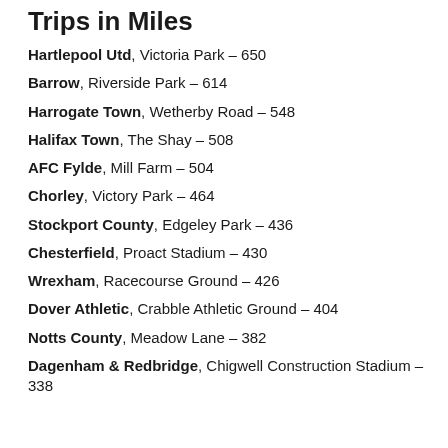Trips in Miles
Hartlepool Utd, Victoria Park – 650
Barrow, Riverside Park – 614
Harrogate Town, Wetherby Road – 548
Halifax Town, The Shay – 508
AFC Fylde, Mill Farm – 504
Chorley, Victory Park – 464
Stockport County, Edgeley Park – 436
Chesterfield, Proact Stadium – 430
Wrexham, Racecourse Ground – 426
Dover Athletic, Crabble Athletic Ground – 404
Notts County, Meadow Lane – 382
Dagenham & Redbridge, Chigwell Construction Stadium – 338